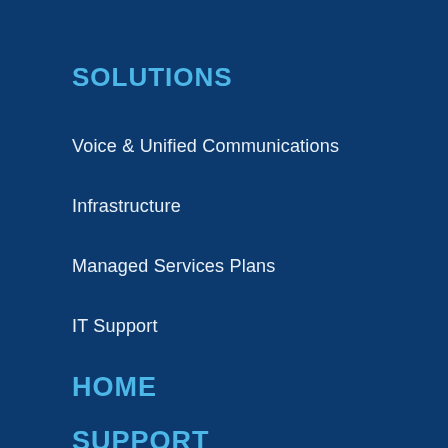SOLUTIONS
Voice & Unified Communications
Infrastructure
Managed Services Plans
IT Support
HOME
SUPPORT
CONTACT